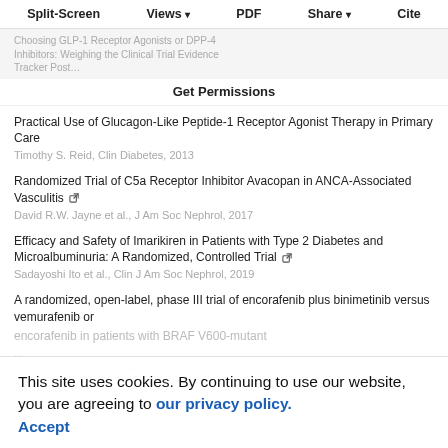Split-Screen | Views | PDF | Share | Cite
Choosing GLP-1 Receptor Agonists or DPP-4 Inhibitors: Weighing the Clinical Trial Evidence
Get Permissions
Practical Use of Glucagon-Like Peptide-1 Receptor Agonist Therapy in Primary Care
Timothy S. Reid, Clin Diabetes, 2013
Randomized Trial of C5a Receptor Inhibitor Avacopan in ANCA-Associated Vasculitis
David R.W. Jayne et al., J Am Soc Nephrol, 2017
Efficacy and Safety of Imarikiren in Patients with Type 2 Diabetes and Microalbuminuria: A Randomized, Controlled Trial
Sadayoshi Ito et al., Clin J Am Soc Nephrol, 2019
A randomized, open-label, phase III trial of encorafenib plus binimetinib versus vemurafenib or encorafenib in patients with BRAF V600-mutant...
SGLT2 Inhibitors—Sweet Success for Diabetic Kidney Disease?
This site uses cookies. By continuing to use our website, you are agreeing to our privacy policy. Accept